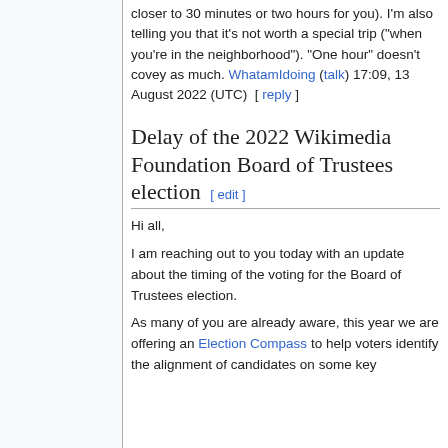closer to 30 minutes or two hours for you). I'm also telling you that it's not worth a special trip ("when you're in the neighborhood"). "One hour" doesn't covey as much. WhatamIdoing (talk) 17:09, 13 August 2022 (UTC)  [ reply ]
Delay of the 2022 Wikimedia Foundation Board of Trustees election  [ edit ]
Hi all,
I am reaching out to you today with an update about the timing of the voting for the Board of Trustees election.
As many of you are already aware, this year we are offering an Election Compass to help voters identify the alignment of candidates on some key